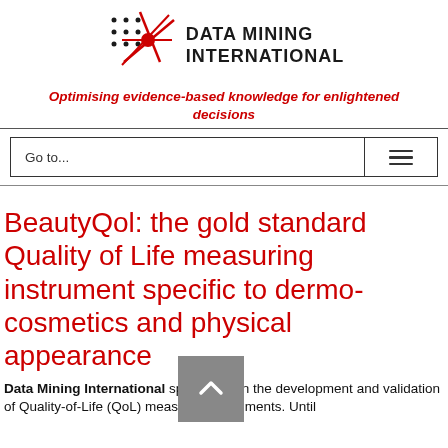[Figure (logo): Data Mining International logo with red star/asterisk graphic and bold text 'DATA MINING INTERNATIONAL']
Optimising evidence-based knowledge for enlightened decisions
Go to...
BeautyQol: the gold standard Quality of Life measuring instrument specific to dermo-cosmetics and physical appearance
Data Mining International specialises in the development and validation of Quality-of-Life (QoL) measuring instruments. Until